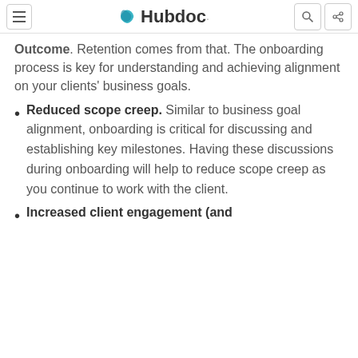Hubdoc
Outcome. Retention comes from that. The onboarding process is key for understanding and achieving alignment on your clients' business goals.
Reduced scope creep. Similar to business goal alignment, onboarding is critical for discussing and establishing key milestones. Having these discussions during onboarding will help to reduce scope creep as you continue to work with the client.
Increased client engagement (and